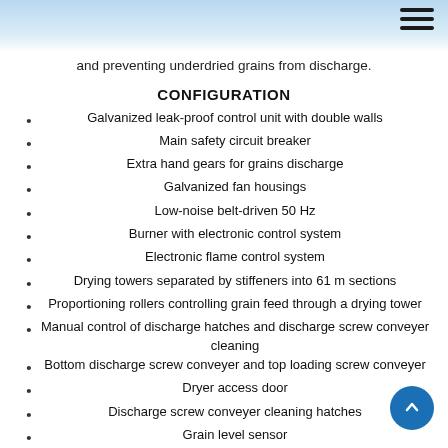and preventing underdried grains from discharge.
CONFIGURATION
Galvanized leak-proof control unit with double walls
Main safety circuit breaker
Extra hand gears for grains discharge
Galvanized fan housings
Low-noise belt-driven 50 Hz
Burner with electronic control system
Electronic flame control system
Drying towers separated by stiffeners into 61 m sections
Proportioning rollers controlling grain feed through a drying tower
Manual control of discharge hatches and discharge screw conveyer cleaning
Bottom discharge screw conveyer and top loading screw conveyer
Dryer access door
Discharge screw conveyer cleaning hatches
Grain level sensor
Four-point electronic humidity sensor
Temperature sensors inside the hot air chamber
Discharge screw conveyer overfill sensor
Gas-pressure reducer that automatically stops gas supply
Gas pressure gauges